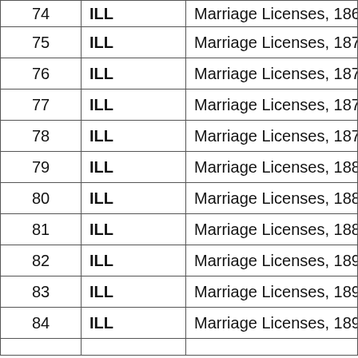| # | State | Description |
| --- | --- | --- |
| 74 | ILL | Marriage Licenses, 1868-1871, No... |
| 75 | ILL | Marriage Licenses, 1871-1874, No... |
| 76 | ILL | Marriage Licenses, 1874-1877, No... |
| 77 | ILL | Marriage Licenses, 1877-1879, No... |
| 78 | ILL | Marriage Licenses, 1879-1881, No... |
| 79 | ILL | Marriage Licenses, 1882-1884, No... |
| 80 | ILL | Marriage Licenses, 1884-1887, No... |
| 81 | ILL | Marriage Licenses, 1887-1890, No... |
| 82 | ILL | Marriage Licenses, 1890-1892, No... |
| 83 | ILL | Marriage Licenses, 1892-1897, No... |
| 84 | ILL | Marriage Licenses, 1898-1902, No... |
| 85 | ILL | ... |